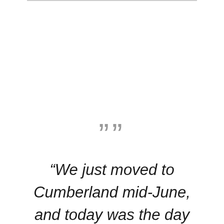””
“We just moved to Cumberland mid-June, and today was the day to